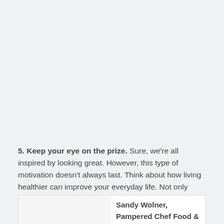5. Keep your eye on the prize. Sure, we're all inspired by looking great. However, this type of motivation doesn't always last. Think about how living healthier can improve your everyday life. Not only does eating well help shed pounds, it gives us more energy, improves our moods, and extends our lives.
Sandy Wolner, Pampered Chef Food & Trend Innovator. Sandy